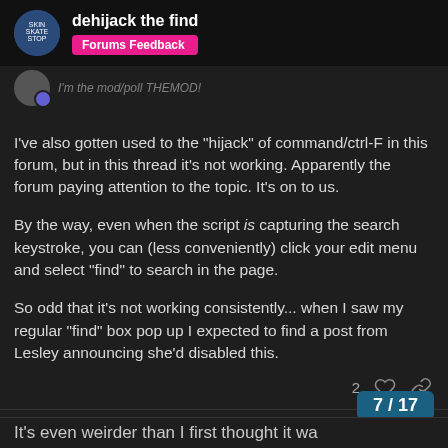dehijack the find | Forums Feedback
I've also gotten used to the “hijack” of command/ctrl-F in this forum, but in this thread it’s not working. Apparently the forum paying attention to the topic. It’s on to us.

By the way, even when the script is capturing the search keystroke, you can (less conveniently) click your edit menu and select “find” to search in the page.

So odd that it’s not working consistently... when I saw my regular “find” box pop up I expected to find a post from Lesley announcing she’d disabled this.
MichaelRobertson ●  Sep '21
I'm the mod, I'M THE MOD!
It's even weirder than I first thought it wa